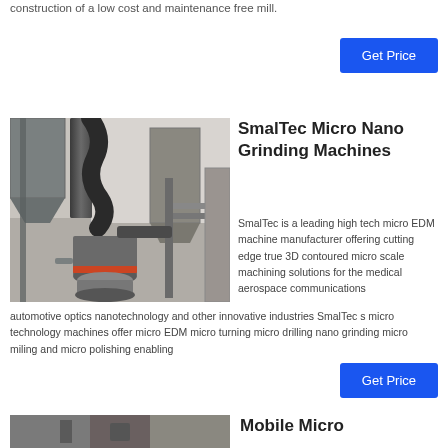construction of a low cost and maintenance free mill.
[Figure (other): Blue 'Get Price' button (top)]
[Figure (photo): Industrial grinding machine with large cylindrical drums, pipes, and metal framework in a warehouse setting.]
SmalTec Micro Nano Grinding Machines
SmalTec is a leading high tech micro EDM machine manufacturer offering cutting edge true 3D contoured micro scale machining solutions for the medical aerospace communications automotive optics nanotechnology and other innovative industries SmalTec s micro technology machines offer micro EDM micro turning micro drilling nano grinding micro miling and micro polishing enabling
[Figure (other): Blue 'Get Price' button (mid)]
Mobile Micro